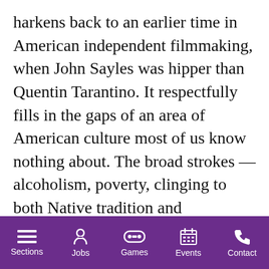harkens back to an earlier time in American independent filmmaking, when John Sayles was hipper than Quentin Tarantino. It respectfully fills in the gaps of an area of American culture most of us know nothing about. The broad strokes — alcoholism, poverty, clinging to both Native tradition and Christianity — may be familiar, but the details are new.
Sections | Jobs | Games | Events | Contact